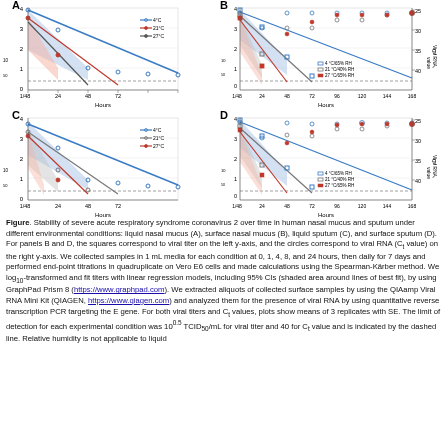[Figure (line-chart): Panel A: Viral titer (log10 TCID50/mL) vs Hours for liquid nasal mucus at 4°C and 21°C and 27°C. Shows declining lines with shaded confidence intervals over 0-72 hours.]
[Figure (line-chart): Panel B: Viral titer (log10 TCID50/mL) and viral RNA (Ct value) vs Hours for surface nasal mucus at 4°C, 21°C, 27°C conditions and different RH levels over 0-168 hours.]
[Figure (line-chart): Panel C: Viral titer (log10 TCID50/mL) vs Hours for liquid sputum at 4°C, 21°C, 27°C over 0-72 hours.]
[Figure (line-chart): Panel D: Viral titer (log10 TCID50/mL) and viral RNA (Ct value) vs Hours for surface sputum at 4°C, 21°C, 27°C and different RH levels over 0-168 hours.]
Figure. Stability of severe acute respiratory syndrome coronavirus 2 over time in human nasal mucus and sputum under different environmental conditions: liquid nasal mucus (A), surface nasal mucus (B), liquid sputum (C), and surface sputum (D). For panels B and D, the squares correspond to viral titer on the left y-axis, and the circles correspond to viral RNA (Ct value) on the right y-axis. We collected samples in 1 mL media for each condition at 0, 1, 4, 8, and 24 hours, then daily for 7 days and performed end-point titrations in quadruplicate on Vero E6 cells and made calculations using the Spearman-Kärber method. We log10-transformed and fit titers with linear regression models, including 95% CIs (shaded area around lines of best fit), by using GraphPad Prism 8 (https://www.graphpad.com). We extracted aliquots of collected surface samples by using the QIAamp Viral RNA Mini Kit (QIAGEN, https://www.qiagen.com) and analyzed them for the presence of viral RNA by using quantitative reverse transcription PCR targeting the E gene. For both viral titers and Ct values, plots show means of 3 replicates with SE. The limit of detection for each experimental condition was 10^0.5 TCID50/mL for viral titer and 40 for Ct value and is indicated by the dashed line. Relative humidity is not applicable to liquid